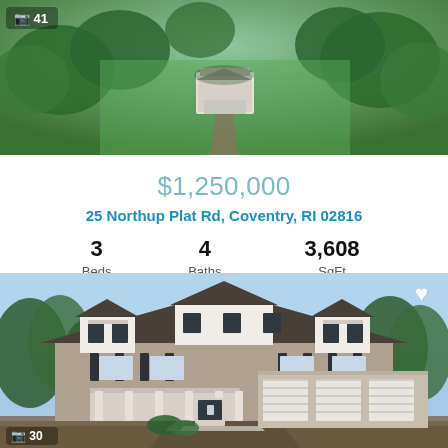[Figure (photo): Aerial view of a house surrounded by green trees with a driveway, with photo count overlay showing camera icon and 41]
$1,250,000
25 Northup Plat Rd, Coventry, RI 02816
| 3 Beds | 4 Baths | 3,608 SqFt |
| --- | --- | --- |
Listed by Keller Williams Coastal
[Figure (photo): Front exterior photo of a large two-story colonial-style house with brown siding, white trim, covered porch, and three-car garage, with heart icon overlay and photo count showing 30]